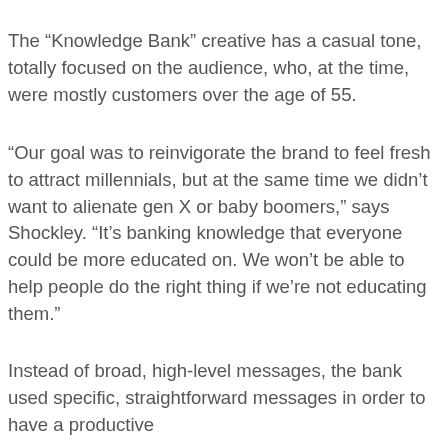The “Knowledge Bank” creative has a casual tone, totally focused on the audience, who, at the time, were mostly customers over the age of 55.
“Our goal was to reinvigorate the brand to feel fresh to attract millennials, but at the same time we didn’t want to alienate gen X or baby boomers,” says Shockley. “It’s banking knowledge that everyone could be more educated on. We won’t be able to help people do the right thing if we’re not educating them.”
Instead of broad, high-level messages, the bank used specific, straightforward messages in order to have a productive